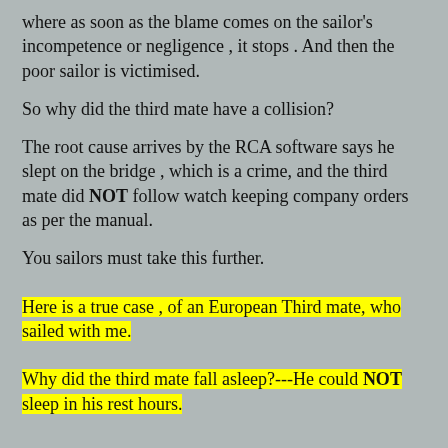where as soon as the blame comes on the sailor's incompetence or negligence , it stops . And then the poor sailor is victimised.
So why did the third mate have a collision?
The root cause arrives by the RCA software says he slept on the bridge , which is a crime, and the third mate did NOT follow watch keeping company orders as per the manual.
You sailors must take this further.
Here is a true case , of an European Third mate, who sailed with me.
Why did the third mate fall asleep?---He could NOT sleep in his rest hours.